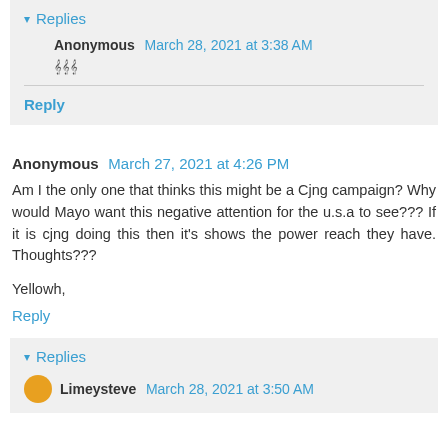▾ Replies
Anonymous  March 28, 2021 at 3:38 AM
𝄞𝄞𝄞
Reply
Anonymous  March 27, 2021 at 4:26 PM
Am I the only one that thinks this might be a Cjng campaign? Why would Mayo want this negative attention for the u.s.a to see??? If it is cjng doing this then it's shows the power reach they have. Thoughts???
Yellowh,
Reply
▾ Replies
Limeysteve  March 28, 2021 at 3:50 AM